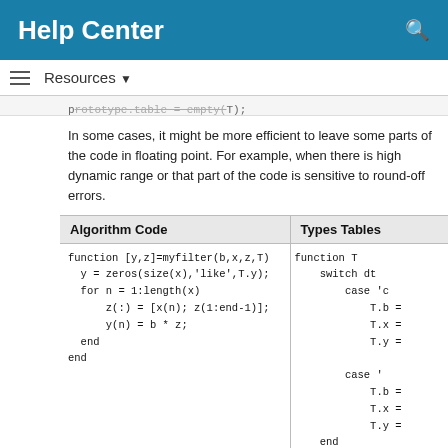Help Center
Resources ▼
prototype.table = empty(T);
In some cases, it might be more efficient to leave some parts of the code in floating point. For example, when there is high dynamic range or that part of the code is sensitive to round-off errors.
| Algorithm Code | Types Tables |
| --- | --- |
| function [y,z]=myfilter(b,x,z,T)
    y = zeros(size(x),'like',T.y);
    for n = 1:length(x)
        z(:) = [x(n); z(1:end-1)];
        y(n) = b * z;
    end
end | function T
    switch dt
        case 'c
            T.b =
            T.x =
            T.y =

        case '
            T.b =
            T.x =
            T.y =
    end
end |